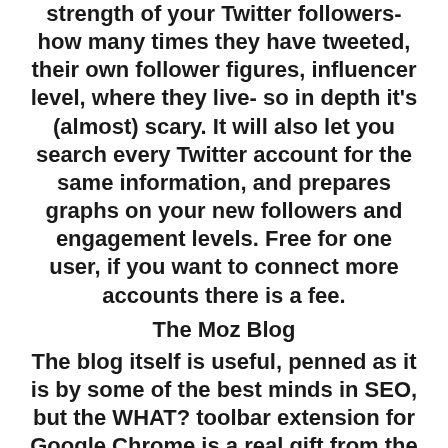strength of your Twitter followers- how many times they have tweeted, their own follower figures, influencer level, where they live- so in depth it's (almost) scary. It will also let you search every Twitter account for the same information, and prepares graphs on your new followers and engagement levels. Free for one user, if you want to connect more accounts there is a fee.
The Moz Blog
The blog itself is useful, penned as it is by some of the best minds in SEO, but the WHAT? toolbar extension for Google Chrome is a real gift from the gods of digital PR and online marketing. With this you can see the strength of the online coverage you have gained, assess blogger impact, and get a better